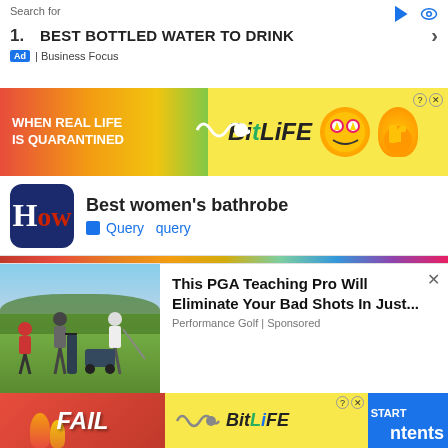Search for
1. BEST BOTTLED WATER TO DRINK
Ad | Business Focus
[Figure (screenshot): BitLife app advertisement banner with rainbow gradient background, text 'WHEN REAL LIFE IS QUARANTINED', BitLife logo on yellow background with star-eyes emoji face]
[Figure (logo): How.com logo - white H on dark blue rounded rectangle]
Best women's bathrobe
Query  query
[Figure (screenshot): Colorful image strip thumbnail row]
Which robes are the best for plantar fasciitis
Podiatrists recommend Dr. Sheena JK for plantar fasciitis. This heel pain relief kit includes fabric and gel heel cushions and a foot massage ball. The compression of this medical heel sleeve absorbs pain in the arch and heel and relieves
[Figure (photo): Golf lesson photo showing a PGA teaching pro and students on a golf course]
This PGA Teaching Pro Will Eliminate Your Bad Shots In Just...
Performance Golf | Sponsored
[Figure (screenshot): BitLife advertisement banner with FAIL text, flame graphics, BitLife logo, and 'START A NEW LIFE' call to action in blue]